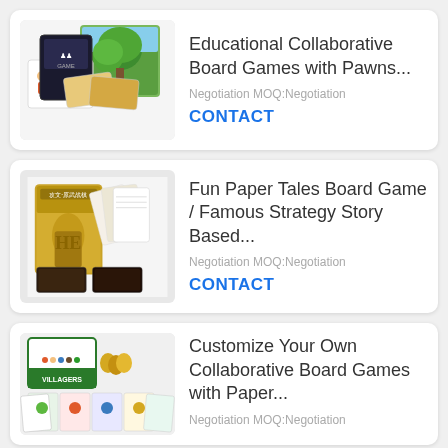[Figure (photo): Educational collaborative board game components including cards, tiles, and game boards with illustrated artwork]
Educational Collaborative Board Games with Pawns...
Negotiation MOQ:Negotiation
CONTACT
[Figure (photo): Fun Paper Tales board game box with Chinese characters and multiple card decks spread out]
Fun Paper Tales Board Game / Famous Strategy Story Based...
Negotiation MOQ:Negotiation
CONTACT
[Figure (photo): Villagers board game box with colorful card components and game pieces spread out]
Customize Your Own Collaborative Board Games with Paper...
Negotiation MOQ:Negotiation